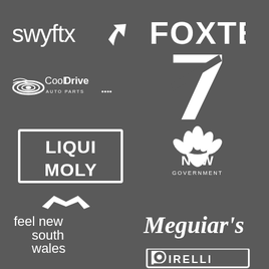[Figure (logo): swyftx logo with arrow]
[Figure (logo): FOXTEL logo]
[Figure (logo): CoolDrive Auto Parts logo]
[Figure (logo): Channel 7 logo (white numeral 7)]
[Figure (logo): LIQUI MOLY logo in bordered box]
[Figure (logo): NSW Government logo with lotus flower]
[Figure (logo): feel new south wales logo]
[Figure (logo): Meguiar's logo in italic serif]
[Figure (logo): Pirelli logo]
[Figure (logo): empty cell bottom left]